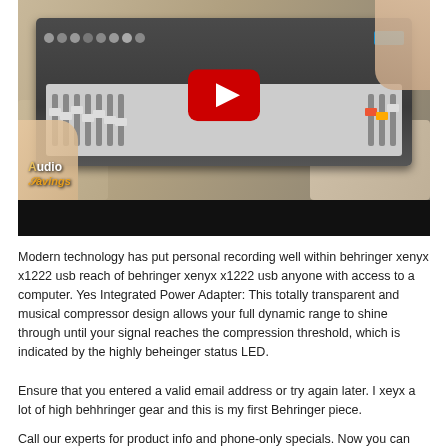[Figure (screenshot): YouTube video thumbnail showing a person's hands on a Behringer Xenyx X1222USB audio mixer with a red YouTube play button overlay. An 'Audio Savings' logo is visible in the lower left of the video frame. A black progress bar appears below the video image.]
Modern technology has put personal recording well within behringer xenyx x1222 usb reach of behringer xenyx x1222 usb anyone with access to a computer. Yes Integrated Power Adapter: This totally transparent and musical compressor design allows your full dynamic range to shine through until your signal reaches the compression threshold, which is indicated by the highly beheinger status LED.
Ensure that you entered a valid email address or try again later. I xeyx a lot of high behhringer gear and this is my first Behringer piece.
Call our experts for product info and phone-only specials. Now you can own